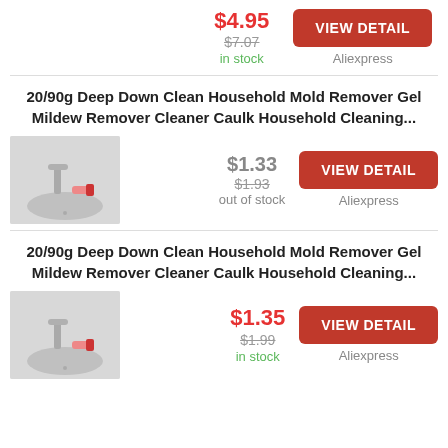$4.95
$7.07
in stock
VIEW DETAIL
Aliexpress
20/90g Deep Down Clean Household Mold Remover Gel Mildew Remover Cleaner Caulk Household Cleaning...
[Figure (photo): Hand applying caulk/mold remover gel near a sink faucet]
$1.33
$1.93
out of stock
VIEW DETAIL
Aliexpress
20/90g Deep Down Clean Household Mold Remover Gel Mildew Remover Cleaner Caulk Household Cleaning...
[Figure (photo): Hand applying caulk/mold remover gel near a sink faucet]
$1.35
$1.99
in stock
VIEW DETAIL
Aliexpress